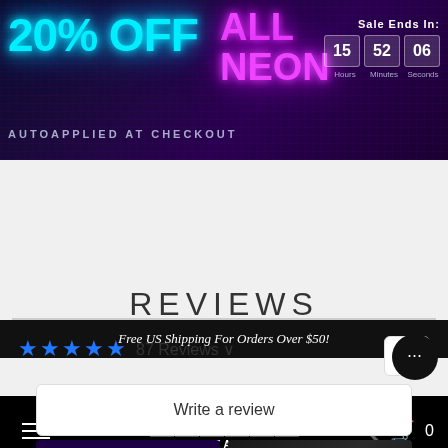[Figure (other): Promotional banner: 20% OFF ALL NEON, autoapplied at checkout, with countdown timer showing 15 hours 52 minutes 06 seconds. Neon-styled text on dark brick background with purple/blue gradient.]
Free US Shipping For Orders Over $50!
[Figure (logo): Canvas Freaks logo with colorful letters on white squares, navigation bar with hamburger menu, search icon, cart icon showing 0 items.]
REVIEWS
★★★★★ 87 Reviews
Write a review
[Figure (photo): Two product review photos: left shows a purple neon 'dream' sign glowing in a dark room; right shows a dark textured background.]